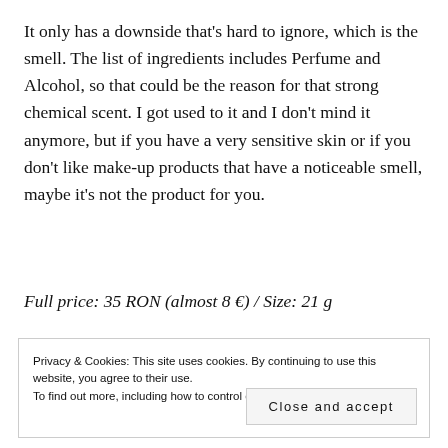It only has a downside that's hard to ignore, which is the smell. The list of ingredients includes Perfume and Alcohol, so that could be the reason for that strong chemical scent. I got used to it and I don't mind it anymore, but if you have a very sensitive skin or if you don't like make-up products that have a noticeable smell, maybe it's not the product for you.
Full price: 35 RON (almost 8 €) / Size: 21 g
Privacy & Cookies: This site uses cookies. By continuing to use this website, you agree to their use.
To find out more, including how to control cookies, see here: Cookie Policy
Close and accept